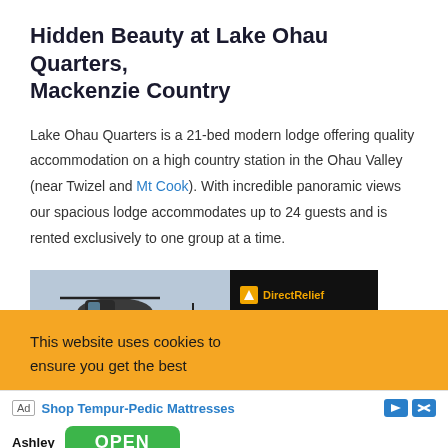Hidden Beauty at Lake Ohau Quarters, Mackenzie Country
Lake Ohau Quarters is a 21-bed modern lodge offering quality accommodation on a high country station in the Ohau Valley (near Twizel and Mt Cook). With incredible panoramic views our spacious lodge accommodates up to 24 guests and is rented exclusively to one group at a time.
[Figure (photo): Helicopter on tarmac with military personnel and cargo, partially visible]
[Figure (infographic): Direct Relief advertisement with orange logo and text ANYTIME. ANYWHERE. on black background]
This website uses cookies to ensure you get the best
Ad  Shop Tempur-Pedic Mattresses  Ashley  OPEN